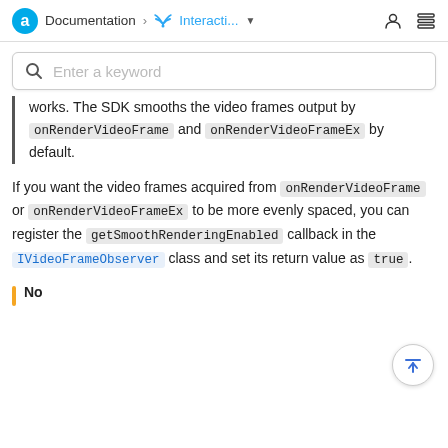Documentation > Interacti...
works. The SDK smooths the video frames output by onRenderVideoFrame and onRenderVideoFrameEx by default.
If you want the video frames acquired from onRenderVideoFrame or onRenderVideoFrameEx to be more evenly spaced, you can register the getSmoothRenderingEnabled callback in the IVideoFrameObserver class and set its return value as true.
Note